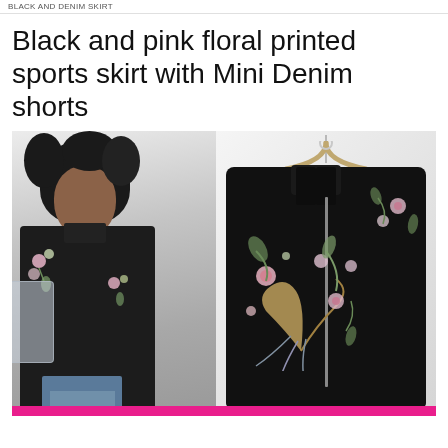BLACK AND DENIM SKIRT
Black and pink floral printed sports skirt with Mini Denim shorts
[Figure (photo): Left side: Young Black woman with curly hair wearing a black floral embroidered bomber jacket over denim shorts, carrying a clear/silver backpack. Right side: A black floral embroidered bomber jacket on a wooden hanger against a light background.]